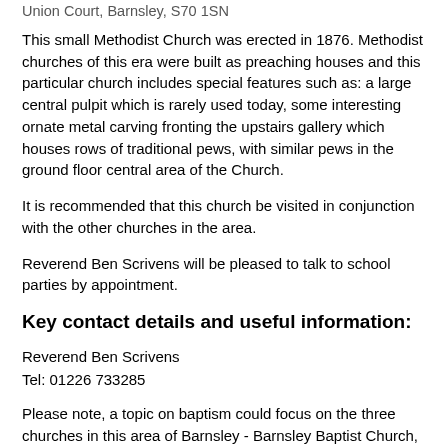Union Court, Barnsley, S70 1SN
This small Methodist Church was erected in 1876. Methodist churches of this era were built as preaching houses and this particular church includes special features such as: a large central pulpit which is rarely used today, some interesting ornate metal carving fronting the upstairs gallery which houses rows of traditional pews, with similar pews in the ground floor central area of the Church.
It is recommended that this church be visited in conjunction with the other churches in the area.
Reverend Ben Scrivens will be pleased to talk to school parties by appointment.
Key contact details and useful information:
Reverend Ben Scrivens
Tel: 01226 733285
Please note, a topic on baptism could focus on the three churches in this area of Barnsley - Barnsley Baptist Church, St Peter's Church and Barnsley Baptist Church.